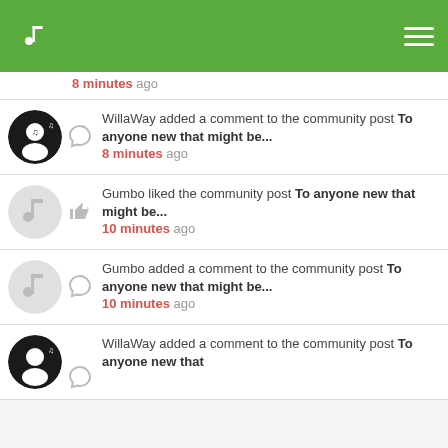[Figure (screenshot): Green navigation bar with music note logo (left) and hamburger menu icon (right)]
8 minutes ago (partial item, timestamp only visible)
WillaWay added a comment to the community post To anyone new that might be... 8 minutes ago
Gumbo liked the community post To anyone new that might be... 10 minutes ago
Gumbo added a comment to the community post To anyone new that might be... 10 minutes ago
WillaWay added a comment to the community post To anyone new that (cut off)